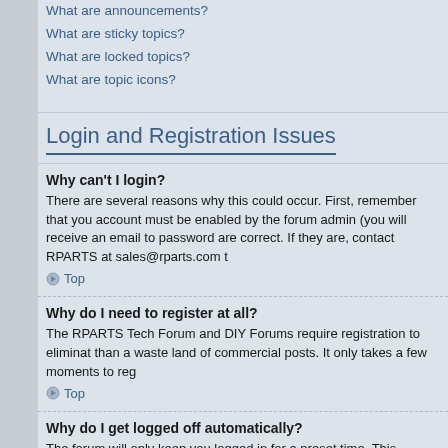What are announcements?
What are sticky topics?
What are locked topics?
What are topic icons?
Login and Registration Issues
Why can't I login?
There are several reasons why this could occur. First, remember that you account must be enabled by the forum admin (you will receive an email to password are correct. If they are, contact RPARTS at sales@rparts.com t
Top
Why do I need to register at all?
The RPARTS Tech Forum and DIY Forums require registration to eliminat than a waste land of commercial posts. It only takes a few moments to reg
Top
Why do I get logged off automatically?
The forum will only keep you logged in for a preset time. This prevents mis
Top
How do I prevent my username appearing in the online user listings?
Within your User Control Panel, under "Board preferences", you will find th